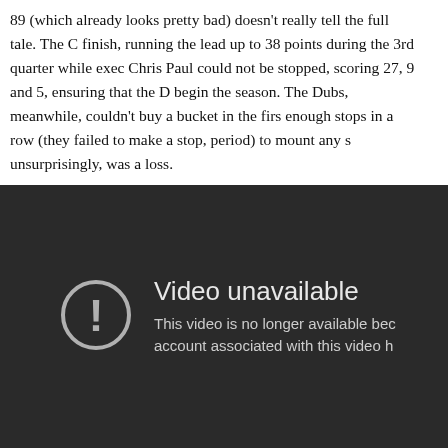89 (which already looks pretty bad) doesn't really tell the full tale. The C finish, running the lead up to 38 points during the 3rd quarter while exec Chris Paul could not be stopped, scoring 27, 9 and 5, ensuring that the D begin the season. The Dubs, meanwhile, couldn't buy a bucket in the firs enough stops in a row (they failed to make a stop, period) to mount any s unsurprisingly, was a loss.
[Figure (screenshot): Video unavailable screen. Dark background with a warning icon (circle with exclamation mark) and text: 'Video unavailable' and 'This video is no longer available bec account associated with this video h']